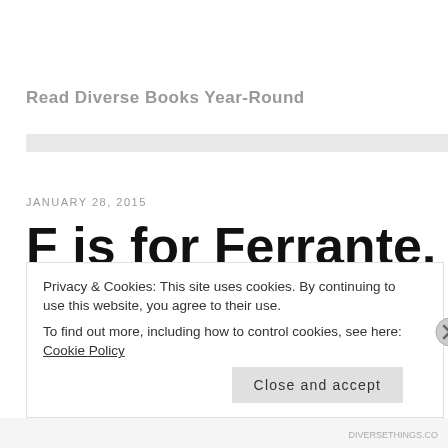Read Diverse Books Year-Round
JANUARY 28, 2015
F is for Ferrante, Ferrante is Fabulous
Privacy & Cookies: This site uses cookies. By continuing to use this website, you agree to their use. To find out more, including how to control cookies, see here: Cookie Policy
Close and accept